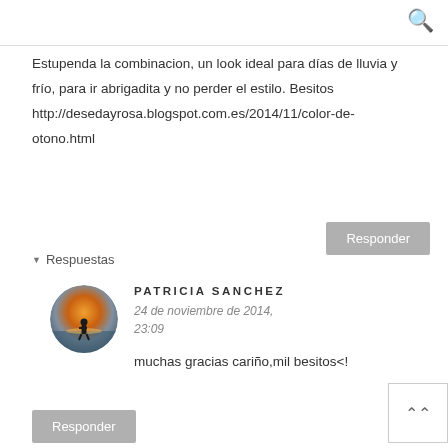Estupenda la combinacion, un look ideal para días de lluvia y frío, para ir abrigadita y no perder el estilo. Besitos http://desedayrosa.blogspot.com.es/2014/11/color-de-otono.html
▼ Respuestas
[Figure (photo): Circular avatar photo of a silhouette of a person at sunset/sunrise near water]
PATRICIA SANCHEZ
24 de noviembre de 2014, 23:09
muchas gracias cariño,mil besitos<!